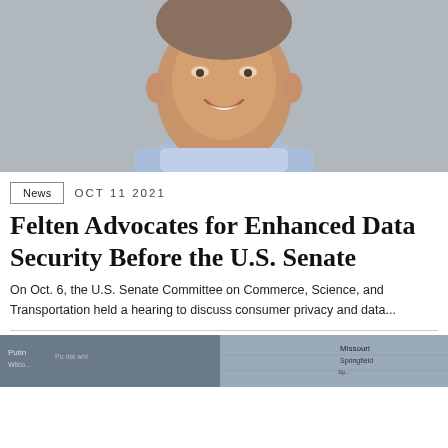[Figure (photo): Headshot of a smiling man wearing a light blue shirt, photographed against a gray background.]
News  OCT 11 2021
Felten Advocates for Enhanced Data Security Before the U.S. Senate
On Oct. 6, the U.S. Senate Committee on Commerce, Science, and Transportation held a hearing to discuss consumer privacy and data...
[Figure (photo): Partial image of a map showing Missouri and Springfield area with text overlays.]